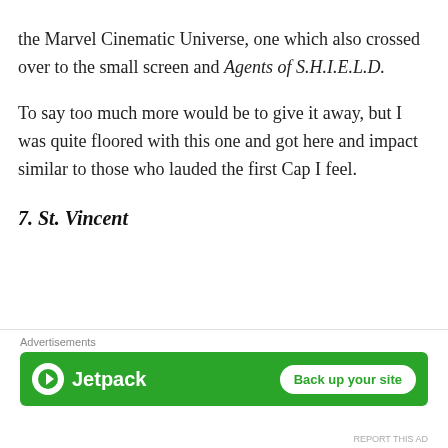the Marvel Cinematic Universe, one which also crossed over to the small screen and Agents of S.H.I.E.L.D.
To say too much more would be to give it away, but I was quite floored with this one and got here and impact similar to those who lauded the first Cap I feel.
7. St. Vincent
[Figure (photo): A woman with dark hair pulled back, standing in front of a house with white siding on the left and teal/green siding on the right.]
Advertisements
[Figure (other): Jetpack advertisement banner with green background, Jetpack logo on the left and 'Back up your site' button on the right.]